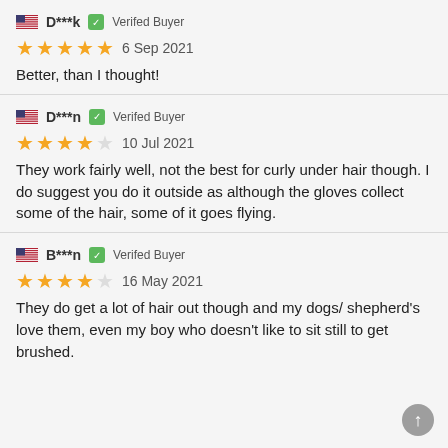D***k  Verifed Buyer
★★★★★  6 Sep 2021
Better, than I thought!
D***n  Verifed Buyer
★★★★☆  10 Jul 2021
They work fairly well, not the best for curly under hair though. I do suggest you do it outside as although the gloves collect some of the hair, some of it goes flying.
B***n  Verifed Buyer
★★★★☆  16 May 2021
They do get a lot of hair out though and my dogs/ shepherd's love them, even my boy who doesn't like to sit still to get brushed.